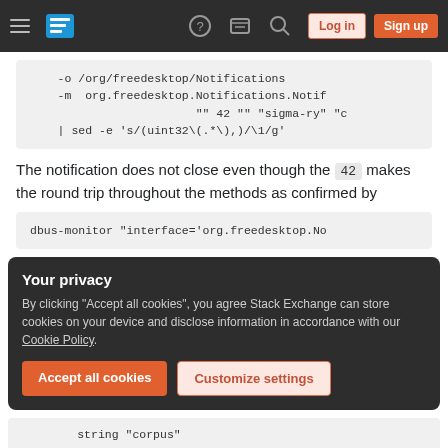Stack Exchange navigation bar with hamburger menu, logo, help, chat, search icons, Log in and Sign up buttons
-o /org/freedesktop/Notifications
-m  org.freedesktop.Notifications.Notif
                "" 42 "" "sigma-ry" "c
| sed -e 's/(uint32\(.*\),)/\1/g'
The notification does not close even though the 42 makes the round trip throughout the methods as confirmed by
dbus-monitor "interface='org.freedesktop.No
Your privacy
By clicking "Accept all cookies", you agree Stack Exchange can store cookies on your device and disclose information in accordance with our Cookie Policy.
Accept all cookies   Customize settings
string "corpus"